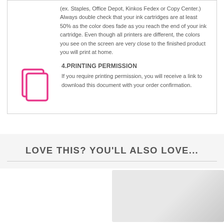(ex. Staples, Office Depot, Kinkos Fedex or Copy Center.) Always double check that your ink cartridges are at least 50% as the color does fade as you reach the end of your ink cartridge. Even though all printers are different, the colors you see on the screen are very close to the finished product you will print at home.
4.PRINTING PERMISSION
If you require printing permission, you will receive a link to download this document with your order confirmation.
LOVE THIS? YOU'LL ALSO LOVE...
[Figure (photo): Partial view of a product image in the bottom right area of the page]